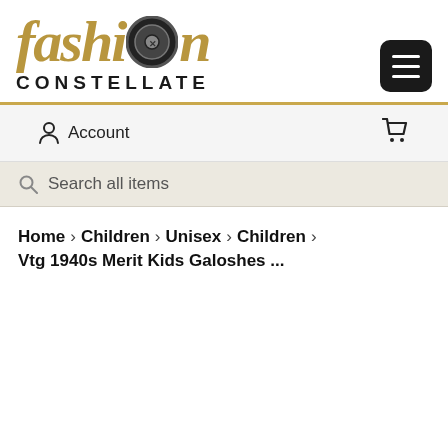[Figure (logo): Fashion Constellate logo with decorative button replacing the 'o' in fashion, and CONSTELLATE in bold uppercase below]
Account | Cart
Search all items
Home > Children > Unisex > Children > Vtg 1940s Merit Kids Galoshes ...